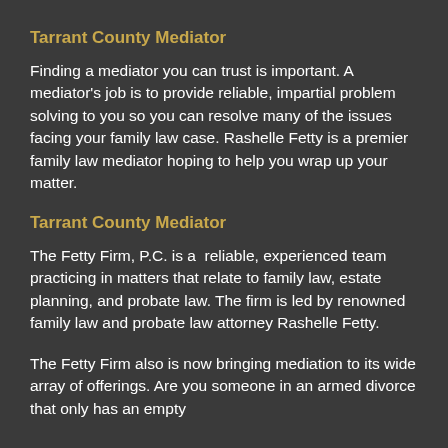Tarrant County Mediator
Finding a mediator you can trust is important. A mediator’s job is to provide reliable, impartial problem solving to you so you can resolve many of the issues facing your family law case. Rashelle Fetty is a premier family law mediator hoping to help you wrap up your matter.
Tarrant County Mediator
The Fetty Firm, P.C. is a  reliable, experienced team practicing in matters that relate to family law, estate planning, and probate law. The firm is led by renowned family law and probate law attorney Rashelle Fetty.
The Fetty Firm also is now bringing mediation to its wide array of offerings. Are you someone in an armed divorce that only has an empty...